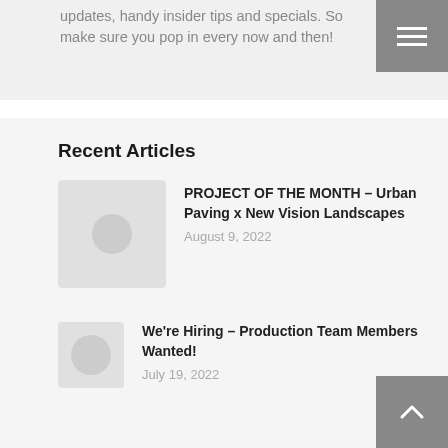updates, handy insider tips and specials. So make sure you pop in every now and then!
Recent Articles
PROJECT OF THE MONTH – Urban Paving x New Vision Landscapes
August 9, 2022
We're Hiring – Production Team Members Wanted!
July 19, 2022
PROJECT OF THE MONTH – Xteriorscapes x Area Landscapes
July 19, 2022